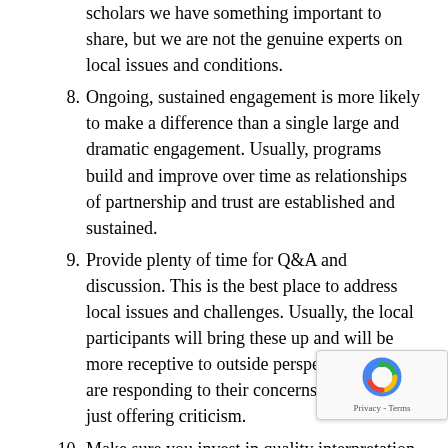Realize that as international and comparative law scholars we have something important to share, but we are not the genuine experts on local issues and conditions.
8. Ongoing, sustained engagement is more likely to make a difference than a single large and dramatic engagement. Usually, programs build and improve over time as relationships of partnership and trust are established and sustained.
9. Provide plenty of time for Q&A and discussion. This is the best place to address local issues and challenges. Usually, the local participants will bring these up and will be more receptive to outside perspectives if you are responding to their concerns rather than just offering criticism.
10. Make sure you invest in quality interpretation. T…